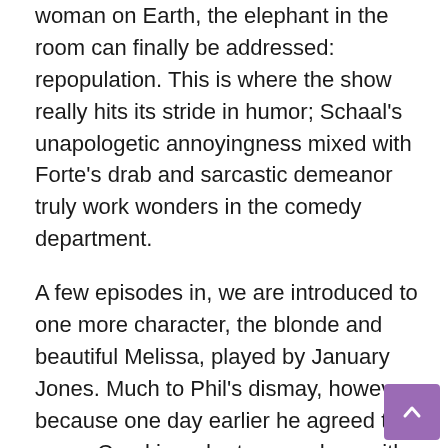woman on Earth, the elephant in the room can finally be addressed: repopulation. This is where the show really hits its stride in humor; Schaal's unapologetic annoyingness mixed with Forte's drab and sarcastic demeanor truly work wonders in the comedy department.
A few episodes in, we are introduced to one more character, the blonde and beautiful Melissa, played by January Jones. Much to Phil's dismay, however, because one day earlier he agreed to marry Carol in order to reproduce with dignity, at her requests of course. This character addition adds about as much laughter to the series as it does pain for its protagonist.